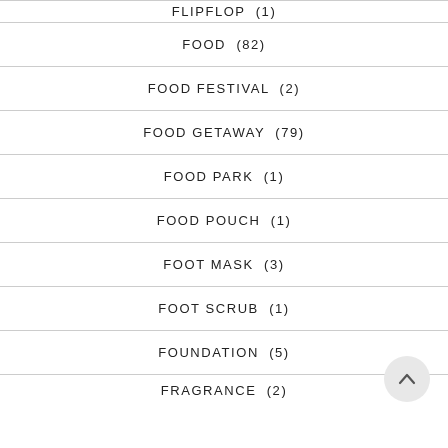FLIPFLOP (1)
FOOD (82)
FOOD FESTIVAL (2)
FOOD GETAWAY (79)
FOOD PARK (1)
FOOD POUCH (1)
FOOT MASK (3)
FOOT SCRUB (1)
FOUNDATION (5)
FRAGRANCE (2)